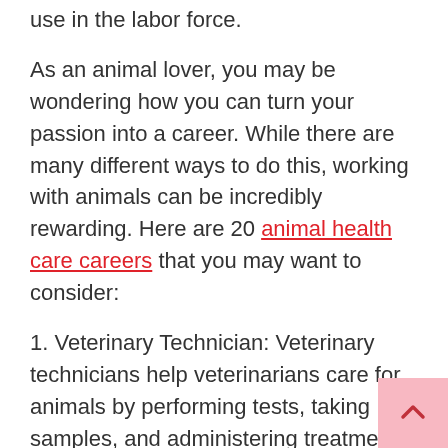use in the labor force.
As an animal lover, you may be wondering how you can turn your passion into a career. While there are many different ways to do this, working with animals can be incredibly rewarding. Here are 20 animal health care careers that you may want to consider:
1. Veterinary Technician: Veterinary technicians help veterinarians care for animals by performing tests, taking samples, and administering treatments.
2. Dog Trainer: Dog trainers teach dogs obedience commands and how to behave in social situations.